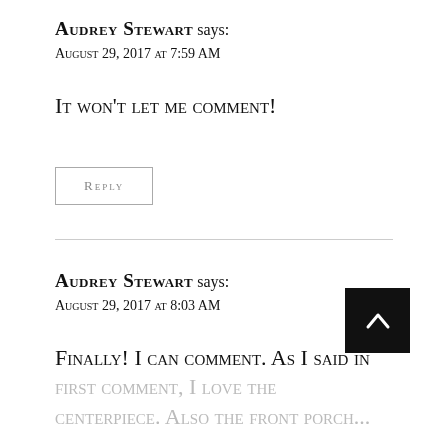AUDREY STEWART says:
August 29, 2017 at 7:59 AM
It won't let me comment!
REPLY
AUDREY STEWART says:
August 29, 2017 at 8:03 AM
Finally! I can comment. As I said in first comment, I love the centerpiece. Also the front porch...